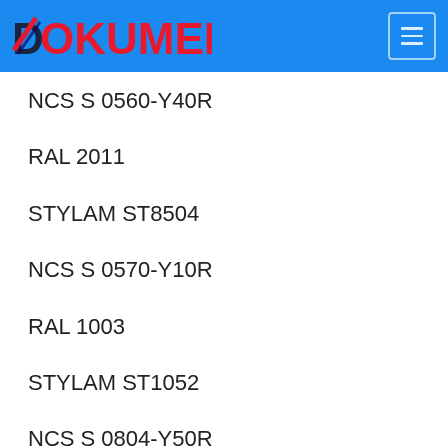DOKUMENT
NCS S 0560-Y40R
RAL 2011
STYLAM ST8504
NCS S 0570-Y10R
RAL 1003
STYLAM ST1052
NCS S 0804-Y50R
RAL 1013